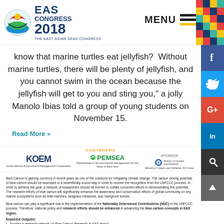EAS CONGRESS 2018 | THE EAST ASIAN SEAS CONGRESS | MENU
know that marine turtles eat jellyfish?  Without marine turtles, there will be plenty of jellyfish, and you cannot swim in the ocean because the jellyfish will get to you and sting you," a jolly Manolo Ibias told a group of young students on November 15.
Read More »
CONVENERS
[Figure (logo): KOEM Korea Marine Environment Management Corporation logo]
[Figure (logo): PEMSEA Partnerships in Environmental Management for the Seas of East Asia logo]
SPONSOR
[Figure (logo): Ministry of Oceans and Fisheries, RO Korea logo]
Blue Carbon is gaining currency in recent years as one of the solutions for mitigating climate change. The carbon storing potential of blue carbon should be assessed in a scientifically sound way in order to receive the recognition from the UNFCCC process. In order to achieve the goal, a network of researchers should be formed to collate concerted efforts in demonstrating the potential. The research efforts of blue carbon will significantly enhance the awareness and conservation efforts of global community on key marine ecosystems such as tidal marshes, seagrass meadows, and mangrove forests.
Blue carbon can play a significant role in the implementation of the Nationally Determined Contributions (NDC) in the UNFCCC process. Therefore, national policy and research efforts should be enhanced in advancing the blue carbon concepts in EAS region.
Expected Output/s:
Forging a research network on Blue Carbon Research in EAS region